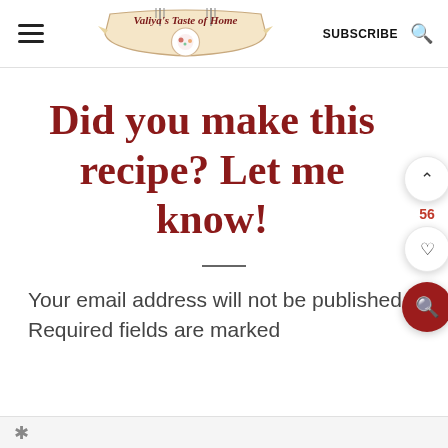Valiya's Taste of Home | SUBSCRIBE
Did you make this recipe? Let me know!
Your email address will not be published. Required fields are marked
*